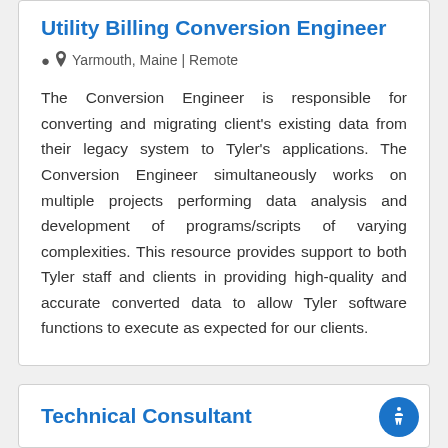Utility Billing Conversion Engineer
Yarmouth, Maine | Remote
The Conversion Engineer is responsible for converting and migrating client's existing data from their legacy system to Tyler's applications. The Conversion Engineer simultaneously works on multiple projects performing data analysis and development of programs/scripts of varying complexities. This resource provides support to both Tyler staff and clients in providing high-quality and accurate converted data to allow Tyler software functions to execute as expected for our clients.
Technical Consultant